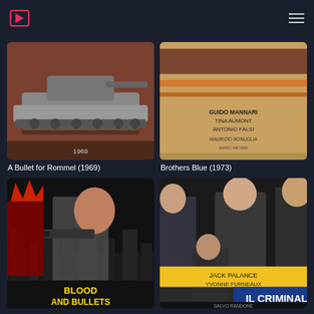Streaming / Movie catalog navigation bar
[Figure (photo): Movie poster for A Bullet for Rommel (1969) showing a military tank illustration on a brown background]
A Bullet for Rommel (1969)
[Figure (photo): Movie poster for Brothers Blue (1973) with text listing cast: Guido Mannari, Tina Aumont, Antonio Falsi, Maurizio Bonuglia, Marc Meyer on an orange/tan background]
Brothers Blue (1973)
[Figure (photo): Movie poster for Blood and Bullets showing an action scene with a man in suit pointing a gun and a figure with red hair, with yellow text BLOOD AND BULLETS at the bottom]
[Figure (photo): Movie poster for Il Criminale showing Jack Palance and Yvonne Furneaux with Salvo Randone, dark moody photograph with people in suits, yellow title band reading IL CRIMINALE]